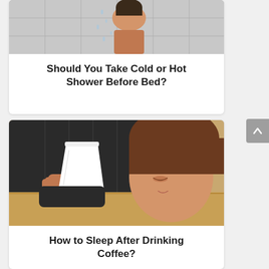[Figure (photo): Photo of a person showering, seen from behind with water and tiles visible]
Should You Take Cold or Hot Shower Before Bed?
[Figure (photo): Photo of a tired woman in dark jacket resting her head on a table while holding a white paper cup]
How to Sleep After Drinking Coffee?